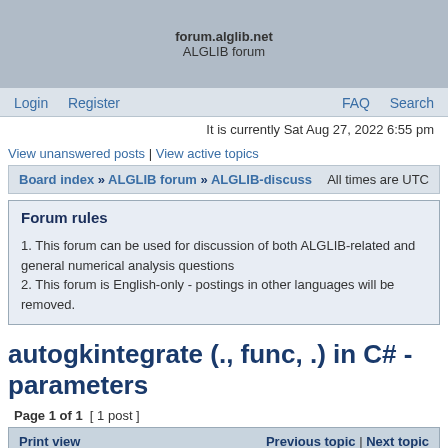forum.alglib.net
ALGLIB forum
Login   Register   FAQ   Search
It is currently Sat Aug 27, 2022 6:55 pm
View unanswered posts | View active topics
Board index » ALGLIB forum » ALGLIB-discuss   All times are UTC
Forum rules
1. This forum can be used for discussion of both ALGLIB-related and general numerical analysis questions
2. This forum is English-only - postings in other languages will be removed.
autogkintegrate (., func, .) in C# - parameters
Page 1 of 1  [ 1 post ]
Print view   Previous topic | Next topic
| Author | Message |
| --- | --- |